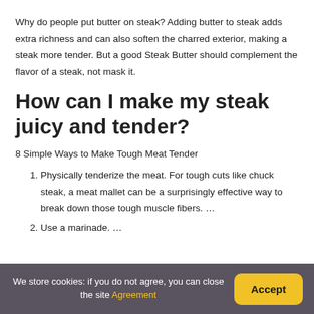Why do people put butter on steak? Adding butter to steak adds extra richness and can also soften the charred exterior, making a steak more tender. But a good Steak Butter should complement the flavor of a steak, not mask it.
How can I make my steak juicy and tender?
8 Simple Ways to Make Tough Meat Tender
Physically tenderize the meat. For tough cuts like chuck steak, a meat mallet can be a surprisingly effective way to break down those tough muscle fibers. …
Use a marinade. …
We store cookies: if you do not agree, you can close the site Agreement